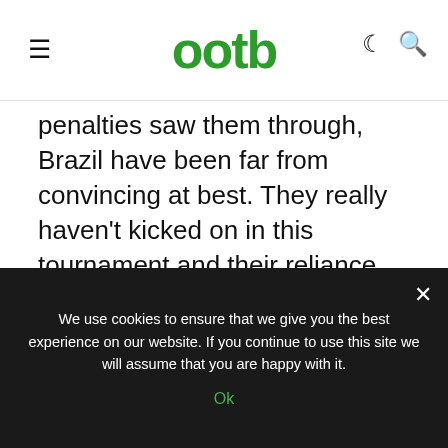ootb
penalties saw them through, Brazil have been far from convincing at best. They really haven't kicked on in this tournament and their reliance on Neymar to produce the goods can backfire. Chile will be proud of their performance, and indeed disappointed about the fact that they didn't make it through because they really could do a lot more in this tournament.
Read all our World Cup 2014
We use cookies to ensure that we give you the best experience on our website. If you continue to use this site we will assume that you are happy with it.
Ok